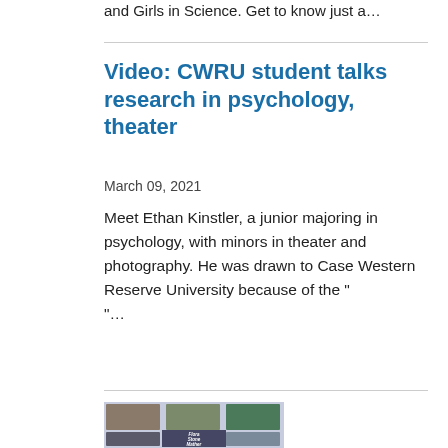and Girls in Science. Get to know just a…
Video: CWRU student talks research in psychology, theater
March 09, 2021
Meet Ethan Kinstler, a junior majoring in psychology, with minors in theater and photography. He was drawn to Case Western Reserve University because of the "…
[Figure (photo): Flora Stone Mather Center promotional image showing a collage of women's headshot photos with text overlay reading 'Flora Stone Mather Center']